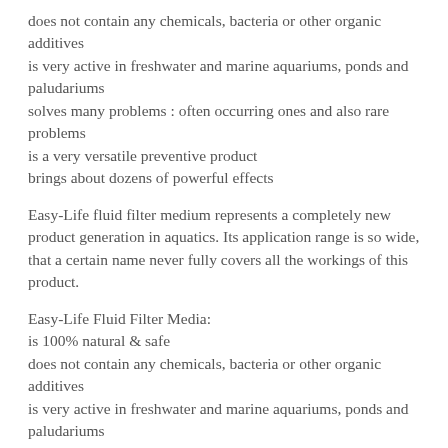does not contain any chemicals, bacteria or other organic additives
is very active in freshwater and marine aquariums, ponds and paludariums
solves many problems : often occurring ones and also rare problems
is a very versatile preventive product
brings about dozens of powerful effects
Easy-Life fluid filter medium represents a completely new product generation in aquatics. Its application range is so wide, that a certain name never fully covers all the workings of this product.
Easy-Life Fluid Filter Media:
is 100% natural & safe
does not contain any chemicals, bacteria or other organic additives
is very active in freshwater and marine aquariums, ponds and paludariums